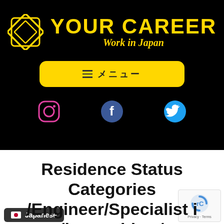[Figure (logo): YOUR CAREER - Work in Japan logo with geometric diamond/square icon in yellow on black background]
[Figure (other): Yellow rounded rectangle menu button with hamburger icon and Japanese text メニュー]
[Figure (other): Social media icons: Instagram (pink), Facebook (dark blue), Twitter (light blue) on black background]
Residence Status Categories /Engineer/Specialist i... /humanities /
[Figure (other): Japanese language selector badge and reCAPTCHA privacy badge]